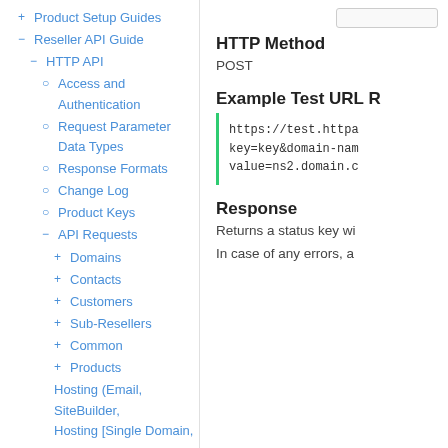+ Product Setup Guides
- Reseller API Guide
- HTTP API
○ Access and Authentication
○ Request Parameter Data Types
○ Response Formats
○ Change Log
○ Product Keys
- API Requests
+ Domains
+ Contacts
+ Customers
+ Sub-Resellers
+ Common
+ Products
+ Hosting (Email, SiteBuilder, Hosting [Single Domain, Multi Domain & Reseller],
HTTP Method
POST
Example Test URL R
https://test.httpa
key=key&domain-nam
value=ns2.domain.c
Response
Returns a status key wi
In case of any errors, a